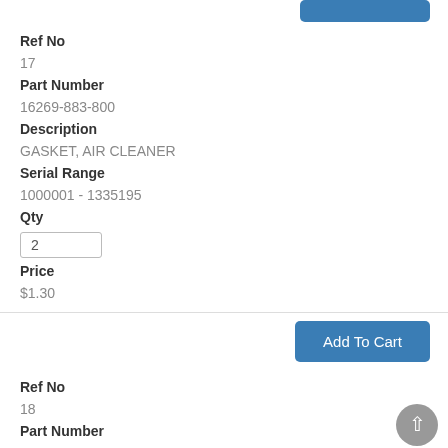Ref No
17
Part Number
16269-883-800
Description
GASKET, AIR CLEANER
Serial Range
1000001 - 1335195
Qty
2
Price
$1.30
Add To Cart
Ref No
18
Part Number
16611-883-610
Description